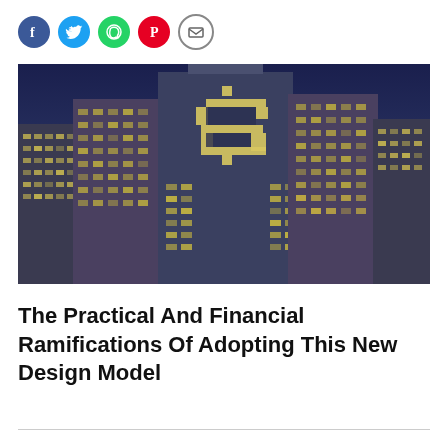[Figure (other): Social media share icons: Facebook (blue circle), Twitter (light blue circle), WhatsApp (green circle), Pinterest (red circle), Email (white circle with envelope outline)]
[Figure (photo): Photograph of city skyscrapers at night with illuminated windows forming a large dollar sign ($) on the central building facade against a dark blue sky]
The Practical And Financial Ramifications Of Adopting This New Design Model